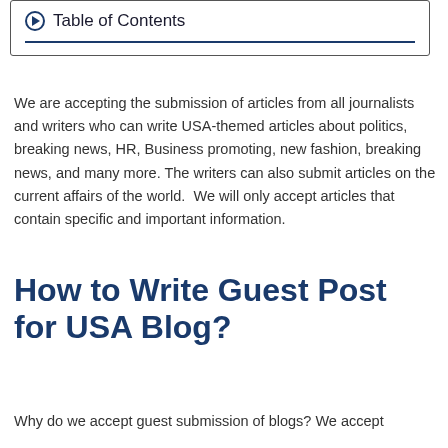Table of Contents
We are accepting the submission of articles from all journalists and writers who can write USA-themed articles about politics, breaking news, HR, Business promoting, new fashion, breaking news, and many more. The writers can also submit articles on the current affairs of the world. We will only accept articles that contain specific and important information.
How to Write Guest Post for USA Blog?
Why do we accept guest submission of blogs? We accept